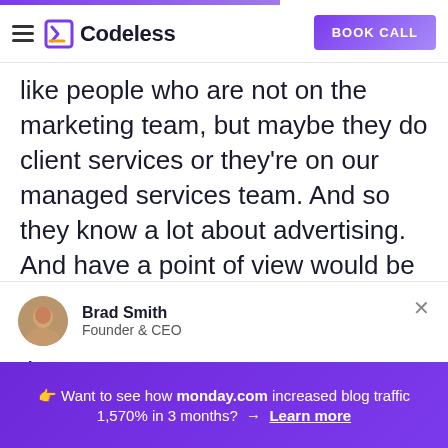Codeless — BOOK CALL
like people who are not on the marketing team, but maybe they do client services or they're on our managed services team. And so they know a lot about advertising. And have a point of view would be to get them to write for a then you're not even paying a freelancer there.
Brad Smith
Founder & CEO
🗘 Want to see how monday.com increased blog traffic 1,570% in 3 months? → Learn more